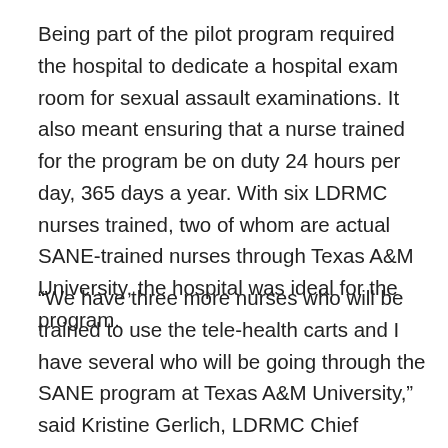Being part of the pilot program required the hospital to dedicate a hospital exam room for sexual assault examinations. It also meant ensuring that a nurse trained for the program be on duty 24 hours per day, 365 days a year. With six LDRMC nurses trained, two of whom are actual SANE-trained nurses through Texas A&M University, the hospital was ideal for the program.
“We have three more nurses who will be trained to use the tele-health carts and I have several who will be going through the SANE program at Texas A&M University,” said Kristine Gerlich, LDRMC Chief Nursing Officer.